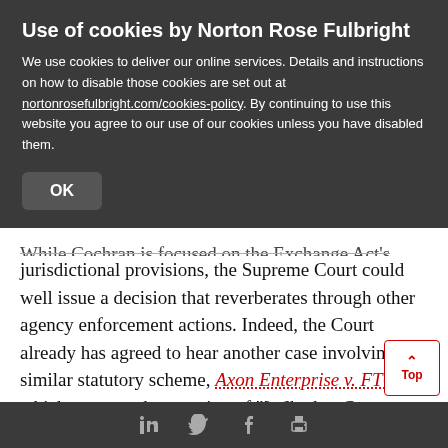Use of cookies by Norton Rose Fulbright
We use cookies to deliver our online services. Details and instructions on how to disable those cookies are set out at nortonrosefulbright.com/cookies-policy. By continuing to use this website you agree to our use of our cookies unless you have disabled them.
OK
While Cochran is focused on the Exchange Act's jurisdictional provisions, the Supreme Court could well issue a decision that reverberates through other agency enforcement actions. Indeed, the Court already has agreed to hear another case involving a similar statutory scheme, Axon Enterprise v. FTC, which presents the question of "[w]hether Congress impliedly stripped federal district courts of jurisdiction
in  twitter  f  print